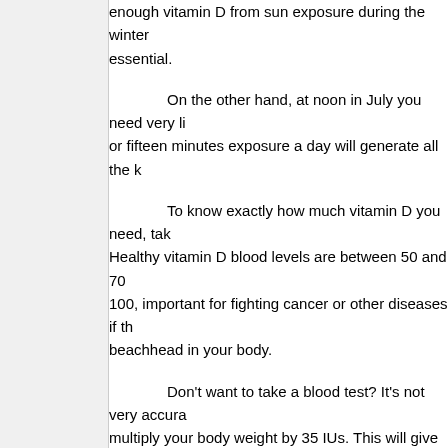enough vitamin D from sun exposure during the winter essential.
On the other hand, at noon in July you need very li or fifteen minutes exposure a day will generate all the k
To know exactly how much vitamin D you need, tak Healthy vitamin D blood levels are between 50 and 70 100, important for fighting cancer or other diseases if th beachhead in your body.
Don't want to take a blood test? It's not very accura multiply your body weight by 35 IUs. This will give you estimate of your daily need. But still, individual differen impossible to predict exactly how much you need, unle by that. If you're getting adequate sun, you may be abl